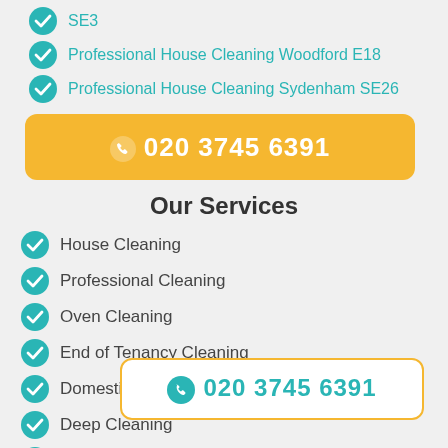SE3
Professional House Cleaning Woodford E18
Professional House Cleaning Sydenham SE26
[Figure (other): Yellow rounded button with phone icon and number 020 3745 6391 in white]
Our Services
House Cleaning
Professional Cleaning
Oven Cleaning
End of Tenancy Cleaning
Domestic Cleaning
Deep Cleaning
Carpet Cleaning
[Figure (other): Outlined rounded button with teal phone icon and number 020 3745 6391 in teal]